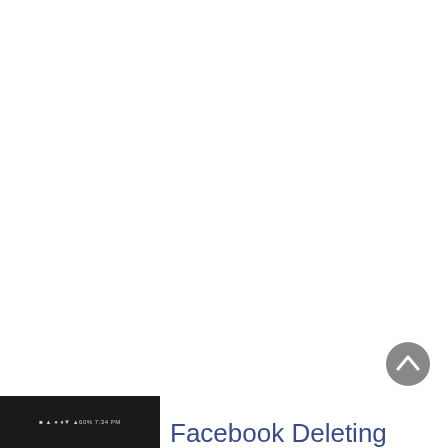[Figure (screenshot): Mostly blank white page area, upper portion of a web page screenshot]
[Figure (screenshot): Circular grey back-to-top scroll button with upward-pointing chevron icon, positioned bottom-right]
[Figure (screenshot): Mobile phone status bar screenshot (black background with status icons and time)]
Facebook Deleting